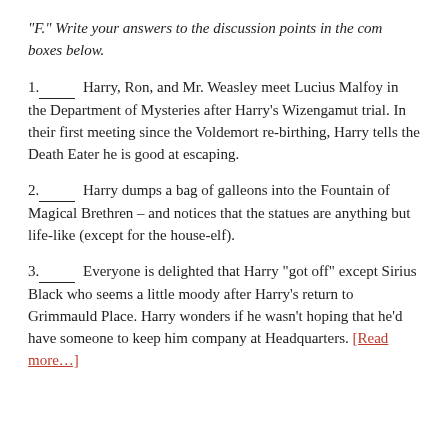“F.” Write your answers to the discussion points in the com boxes below.
1._____ Harry, Ron, and Mr. Weasley meet Lucius Malfoy in the Department of Mysteries after Harry’s Wizengamut trial. In their first meeting since the Voldemort re-birthing, Harry tells the Death Eater he is good at escaping.
2._____ Harry dumps a bag of galleons into the Fountain of Magical Brethren – and notices that the statues are anything but life-like (except for the house-elf).
3._____ Everyone is delighted that Harry “got off” except Sirius Black who seems a little moody after Harry’s return to Grimmauld Place. Harry wonders if he wasn’t hoping that he’d have someone to keep him company at Headquarters. [Read more…]